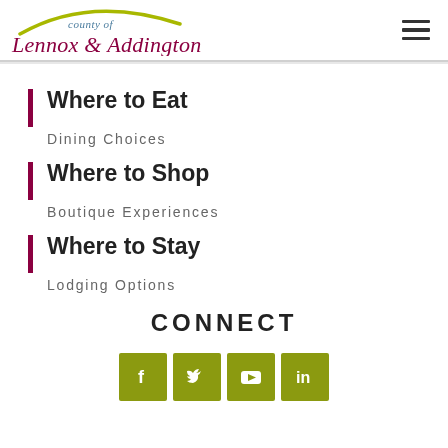[Figure (logo): County of Lennox & Addington logo with green arc and italic serif text]
Where to Eat
Dining Choices
Where to Shop
Boutique Experiences
Where to Stay
Lodging Options
CONNECT
[Figure (infographic): Social media icons: Facebook, Twitter, YouTube, LinkedIn on olive-green square backgrounds]